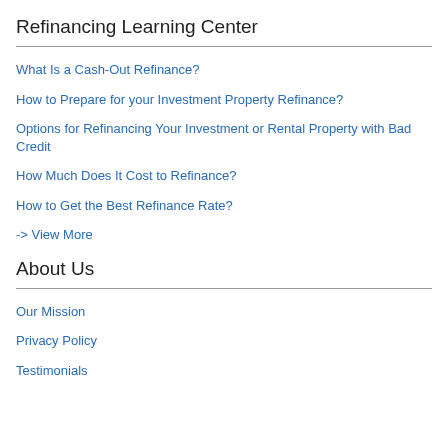Refinancing Learning Center
What Is a Cash-Out Refinance?
How to Prepare for your Investment Property Refinance?
Options for Refinancing Your Investment or Rental Property with Bad Credit
How Much Does It Cost to Refinance?
How to Get the Best Refinance Rate?
-> View More
About Us
Our Mission
Privacy Policy
Testimonials